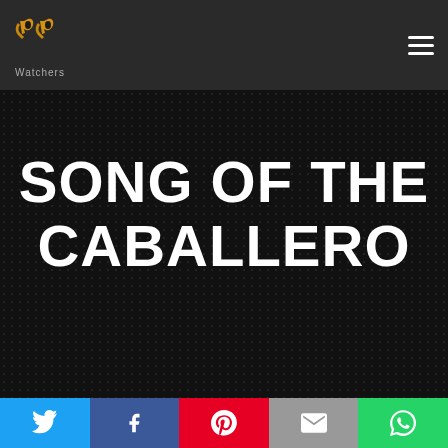[Figure (logo): PP Watchers logo — two golden letter P shapes side by side forming a stylized icon, with 'Watchers' text below in grey]
SONG OF THE CABALLERO
[Figure (screenshot): Dark background image with dot grid pattern showing the title 'SONG OF THE CABALLERO' in large bold white uppercase text]
Social share buttons: Twitter, Facebook, Pinterest, Email, WhatsApp